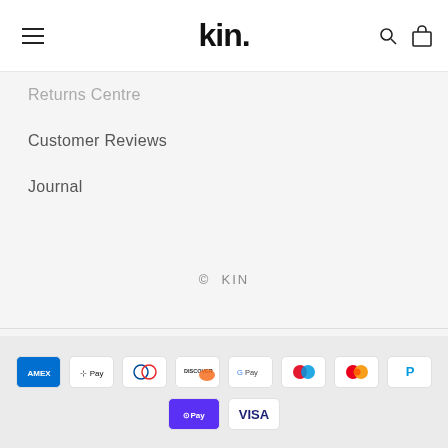kin.
Returns Centre
Customer Reviews
Journal
© KIN
[Figure (other): Payment method icons: American Express, Apple Pay, Diners Club, Discover, Google Pay, Maestro, Mastercard, PayPal, Shop Pay, Visa]